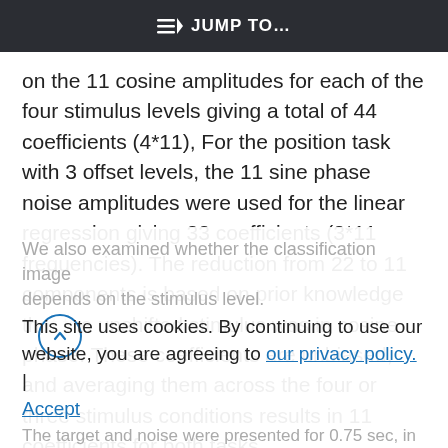JUMP TO...
on the 11 cosine amplitudes for each of the four stimulus levels giving a total of 44 coefficients (4*11), For the position task with 3 offset levels, the 11 sine phase noise amplitudes were used for the linear regression giving 33 coefficients (3*11 frequencies). The reduction from 22 to 11 components is based on prior knowledge that the unshifted stimulus was in cosine phase. These coefficients are unbiased, and averaging them across the four or three stimulus conditions results in 11 coefficients for both tasks.
We also examined whether the classification image depends on the stimulus level.
This site uses cookies. By continuing to use our website, you are agreeing to our privacy policy. | Accept
The target and noise were presented for 0.75 sec, in